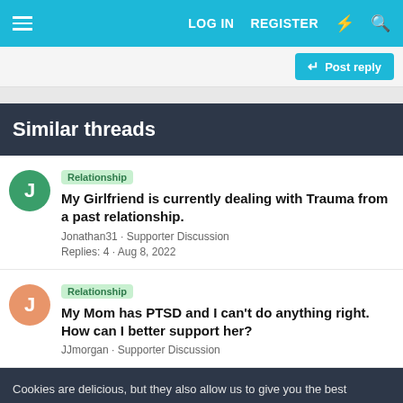LOG IN   REGISTER
Post reply
Similar threads
Relationship  My Girlfriend is currently dealing with Trauma from a past relationship.
Jonathan31 · Supporter Discussion
Replies: 4 · Aug 8, 2022
Relationship  My Mom has PTSD and I can't do anything right. How can I better support her?
JJmorgan · Supporter Discussion
Cookies are delicious, but they also allow us to give you the best experience for our website and keep you logged in as a member.
✓ Accept   Learn more...